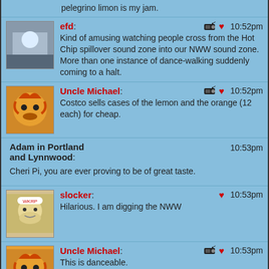pelegrino limon is my jam.
efd: 10:52pm
Kind of amusing watching people cross from the Hot Chip spillover sound zone into our NWW sound zone. More than one instance of dance-walking suddenly coming to a halt.
Uncle Michael: 10:52pm
Costco sells cases of the lemon and the orange (12 each) for cheap.
Adam in Portland and Lynnwood: 10:53pm
Cheri Pi, you are ever proving to be of great taste.
slocker: 10:53pm
Hilarious. I am digging the NWW
Uncle Michael: 10:53pm
This is danceable.
slocker: 10:54pm
@efd re: your comment, not this set.
Cheri Pi: 10:54pm